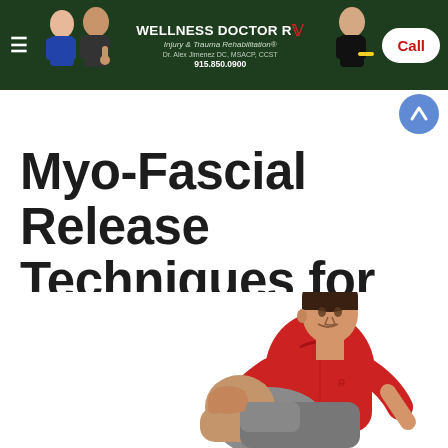WELLNESS DOCTOR Rx | Injury & Trauma Rehabilitation | Dr. Alex Jimenez DC, MSACP, CCST | 915.850.0900 | Call
Myo-Fascial Release Techniques for the Tensor Fascia Latae
[Figure (photo): Man in red shirt sitting on the floor demonstrating a myo-fascial release stretch for the tensor fascia latae, grasping his knee]